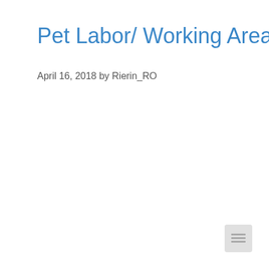Pet Labor/ Working Area List
April 16, 2018 by Rierin_RO